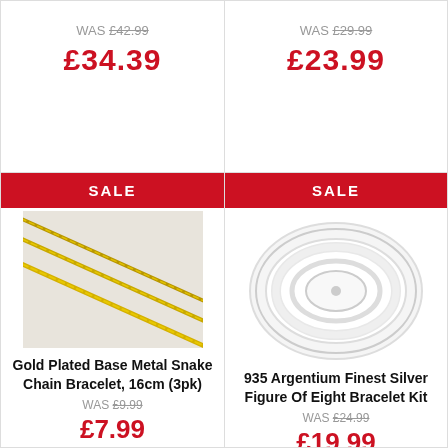WAS £42.99
£34.39
WAS £29.99
£23.99
SALE
[Figure (photo): Gold plated snake chain bracelet, close-up of three gold chains diagonal on light background]
Gold Plated Base Metal Snake Chain Bracelet, 16cm (3pk)
WAS £9.99
SALE
[Figure (photo): 935 Argentium silver figure of eight bracelet kit on white spool/reel on white background]
935 Argentium Finest Silver Figure Of Eight Bracelet Kit
WAS £24.99